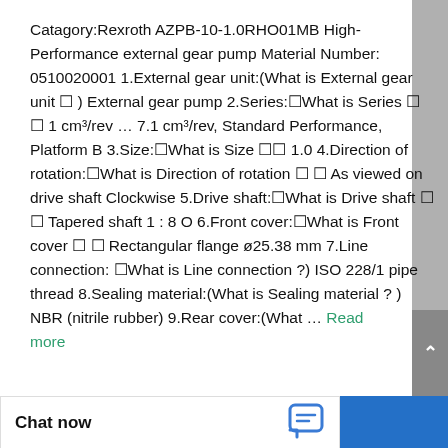Catagory:Rexroth AZPB-10-1.0RHO01MB High-Performance external gear pump Material Number: 0510020001 1.External gear unit:(What is External gear unit ?) External gear pump 2.Series:(What is Series ?)  1 cm³/rev … 7.1 cm³/rev, Standard Performance, Platform B 3.Size:(What is Size ?) 1.0 4.Direction of rotation:(What is Direction of rotation ?) As viewed on drive shaft Clockwise 5.Drive shaft:(What is Drive shaft ?) Tapered shaft 1 : 8 O 6.Front cover:(What is Front cover ?) Rectangular flange ø25.38 mm 7.Line connection:(What is Line connection ?) ISO 228/1 pipe thread 8.Sealing material:(What is Sealing material ? ) NBR (nitrile rubber) 9.Rear cover:(What … Read more
[Figure (screenshot): Chat now button bar at the bottom of the page with a chat icon and blue button area]